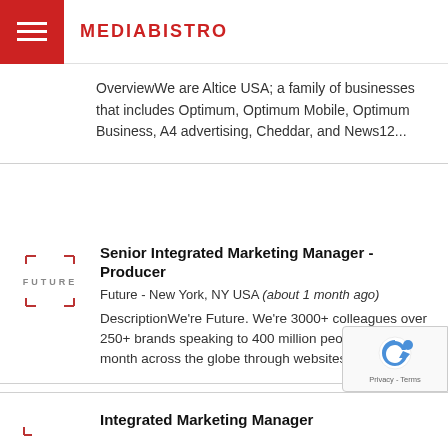MEDIABISTRO
OverviewWe are Altice USA; a family of businesses that includes Optimum, Optimum Mobile, Optimum Business, A4 advertising, Cheddar, and News12...
[Figure (logo): Future company logo — stylized bracket corners around the word FUTURE]
Senior Integrated Marketing Manager - Producer
Future - New York, NY USA (about 1 month ago)
DescriptionWe're Future. We're 3000+ colleagues over 250+ brands speaking to 400 million people every month across the globe through websites, even...
[Figure (logo): Integrated Marketing Manager listing logo (partial)]
Integrated Marketing Manager